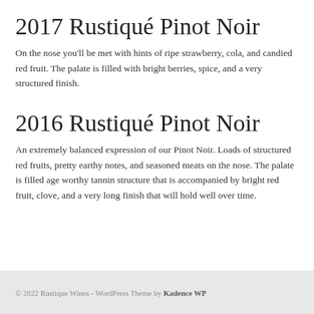2017 Rustiqué Pinot Noir
On the nose you'll be met with hints of ripe strawberry, cola, and candied red fruit. The palate is filled with bright berries, spice, and a very structured finish.
2016 Rustiqué Pinot Noir
An extremely balanced expression of our Pinot Noir. Loads of structured red fruits, pretty earthy notes, and seasoned meats on the nose. The palate is filled age worthy tannin structure that is accompanied by bright red fruit, clove, and a very long finish that will hold well over time.
© 2022 Rustique Wines - WordPress Theme by Kadence WP